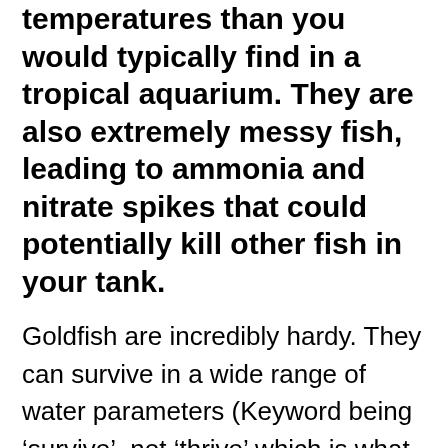temperatures than you would typically find in a tropical aquarium. They are also extremely messy fish, leading to ammonia and nitrate spikes that could potentially kill other fish in your tank.
Goldfish are incredibly hardy. They can survive in a wide range of water parameters (Keyword being ‘survive’, not ‘thrive’ which is what we should always aim for.)